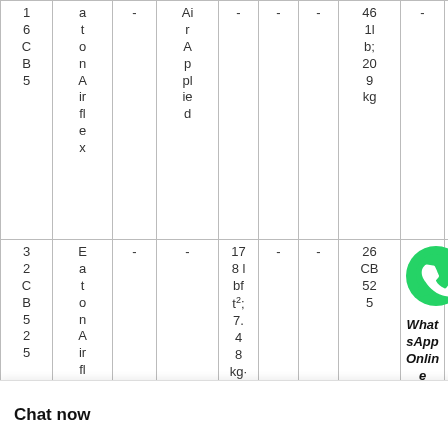| 16CB5 | Eaton Airflex | - | Air Applied | - | - | - | 4611 lb; 209 kg | - |  |
| 32CB525 | Eaton Airflex | - | - | 178 lbft²; 7.48 kg·m² | - | - | 26CB525 | - | - |
|  |  |  |  | 0.75 i |  |  |  |  | 4. |
[Figure (other): WhatsApp Online button with green WhatsApp logo icon and bold italic text 'WhatsApp Online']
Chat now